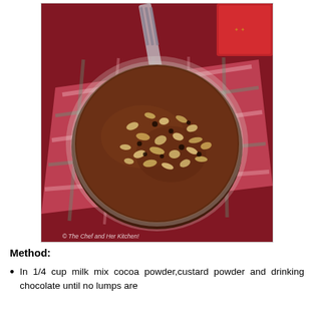[Figure (photo): Top-down view of a glass bowl filled with chocolate pudding/custard topped with chopped hazelnuts and dark chocolate chips, placed on a red and green checkered cloth napkin on a red textured surface. A fork and a red book/box are visible in the background. Watermark reads: The Chef and Her Kitchen!]
Method:
In 1/4 cup milk mix cocoa powder,custard powder and drinking chocolate until no lumps are